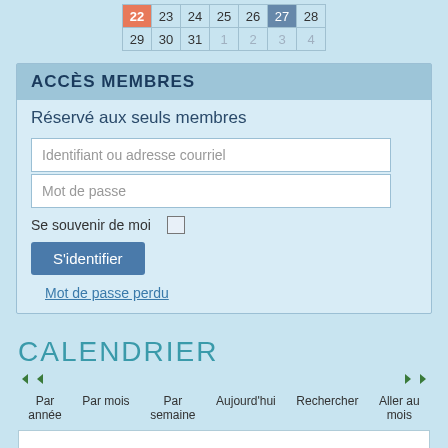[Figure (table-as-image): Mini calendar showing dates 22-31 and 1-4, with 22 highlighted in orange and 27 highlighted in dark blue-grey]
ACCÈS MEMBRES
Réservé aux seuls membres
Identifiant ou adresse courriel
Mot de passe
Se souvenir de moi
S'identifier
Mot de passe perdu
CALENDRIER
Par année  Par mois  Par semaine  Aujourd'hui  Rechercher  Aller au mois
Montrer les événements passés ?